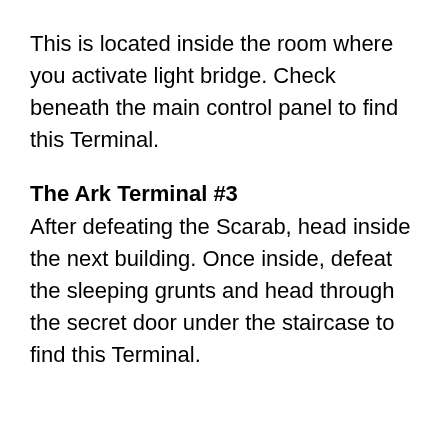This is located inside the room where you activate light bridge. Check beneath the main control panel to find this Terminal.
The Ark Terminal #3
After defeating the Scarab, head inside the next building. Once inside, defeat the sleeping grunts and head through the secret door under the staircase to find this Terminal.